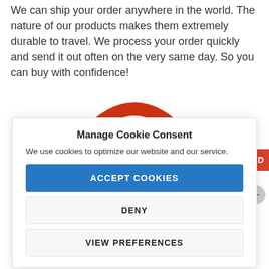We can ship your order anywhere in the world. The nature of our products makes them extremely durable to travel. We process your order quickly and send it out often on the very same day. So you can buy with confidence!
[Figure (logo): Partial red arch/logo graphic (top portion of a red rainbow or arch logo)]
Manage Cookie Consent
We use cookies to optimize our website and our service.
ACCEPT COOKIES
DENY
VIEW PREFERENCES